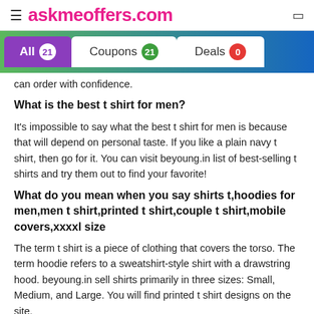≡ askmeoffers.com
All 21   Coupons 21   Deals 0
can order with confidence.
What is the best t shirt for men?
It's impossible to say what the best t shirt for men is because that will depend on personal taste. If you like a plain navy t shirt, then go for it. You can visit beyoung.in list of best-selling t shirts and try them out to find your favorite!
What do you mean when you say shirts t,hoodies for men,men t shirt,printed t shirt,couple t shirt,mobile covers,xxxxl size
The term t shirt is a piece of clothing that covers the torso. The term hoodie refers to a sweatshirt-style shirt with a drawstring hood. beyoung.in sell shirts primarily in three sizes: Small, Medium, and Large. You will find printed t shirt designs on the site.